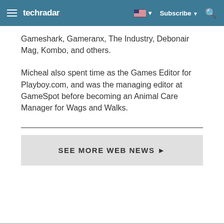techradar | Subscribe | [flag icon] | [search icon]
Gameshark, Gameranx, The Industry, Debonair Mag, Kombo, and others.
Micheal also spent time as the Games Editor for Playboy.com, and was the managing editor at GameSpot before becoming an Animal Care Manager for Wags and Walks.
SEE MORE WEB NEWS ▶